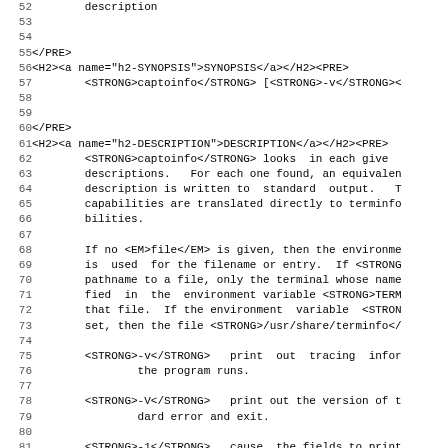Code listing lines 52–83 of a man page HTML source for captoinfo
| line | code |
| --- | --- |
| 52 |         description |
| 53 |  |
| 54 |  |
| 55 | </PRE> |
| 56 | <H2><a name="h2-SYNOPSIS">SYNOPSIS</a></H2><PRE> |
| 57 |         <STRONG>captoinfo</STRONG> [<STRONG>-v</STRONG>< |
| 58 |  |
| 59 |  |
| 60 | </PRE> |
| 61 | <H2><a name="h2-DESCRIPTION">DESCRIPTION</a></H2><PRE> |
| 62 |         <STRONG>captoinfo</STRONG> looks  in each give |
| 63 |         descriptions.   For each one found, an equivalen |
| 64 |         description is written to  standard  output.   T |
| 65 |         capabilities are translated directly to terminfo |
| 66 |         bilities. |
| 67 |  |
| 68 |         If no <EM>file</EM> is given, then the environme |
| 69 |         is  used  for the filename or entry.  If <STRONG |
| 70 |         pathname to a file, only the terminal whose name |
| 71 |         fied  in  the  environment variable <STRONG>TERM |
| 72 |         that file.  If the environment  variable  <STRON |
| 73 |         set, then the file <STRONG>/usr/share/terminfo</ |
| 74 |  |
| 75 |         <STRONG>-v</STRONG>   print  out  tracing  infor |
| 76 |                 the program runs. |
| 77 |  |
| 78 |         <STRONG>-V</STRONG>   print out the version of t |
| 79 |                 dard error and exit. |
| 80 |  |
| 81 |         <STRONG>-1</STRONG>   cause  the fields to print |
| 82 |                 wise, the fields will be printed several t |
| 83 |                 a maximum width of 60 characters. |